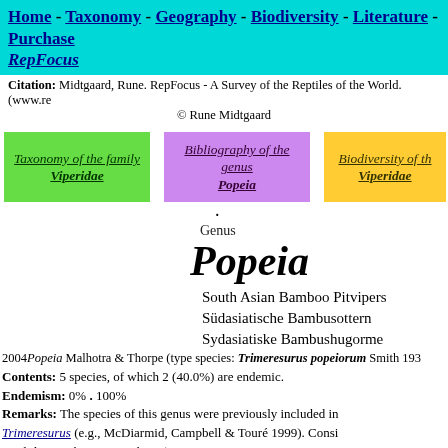Home - Taxonomy - Geography - Biodiversity - Literature - Purchase RepFocus
Citation: Midtgaard, Rune. RepFocus - A Survey of the Reptiles of the World. (www.re... © Rune Midtgaard
Taxonomy of the family Viperidae | Bibliography of the genus Popeia | Biodiversity of the Viperidae
Popeia
Genus
South Asian Bamboo Pitvipers
Südasiatische Bambusottern
Sydasiatiske Bambushugorme
2004 Popeia Malhotra & Thorpe (type species: Trimeresurus popeiorum Smith 193...
Contents: 5 species, of which 2 (40.0%) are endemic.
Endemism: 0% . 100%
Remarks: The species of this genus were previously included in Trimeresurus (e.g., McDiarmid, Campbell & Touré 1999). Considered a valid genus by some authors (e.g., Grismer, Grismer & McGui... (2006), but as a subgenus of Trimeresurus by others (e.g., Vogel, David & Pauwels 2004; David, Petri, Vogel & Doria 2009).
Distribution: SE. Asia, Malay Archipelago.
Reported from: Bhutan, Brunei, China (Yunnan), India (Arunac... Pradesh, Assam, Meghalaya, Mizoram, Nagaland, Sikkim, West... Bor...), Indonesia (Kalim... Sulawesi, Singapore, Sing...